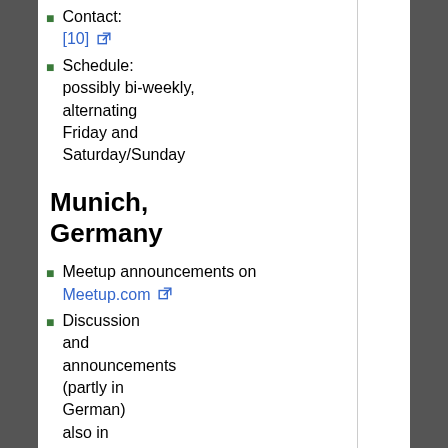Contact: [10]
Schedule: possibly bi-weekly, alternating Friday and Saturday/Sunday
Munich, Germany
Meetup announcements on Meetup.com
Discussion and announcements (partly in German) also in Facebook group 🔒 .
Schedule: